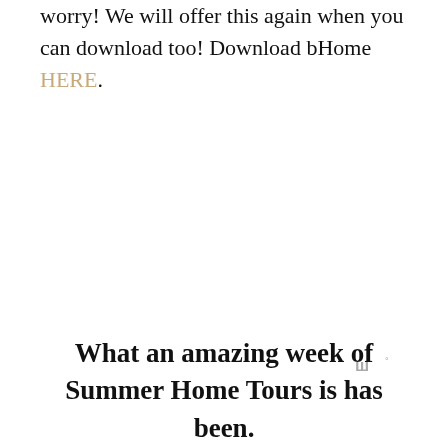worry! We will offer this again when you can download too! Download bHome HERE.
[Figure (logo): Small watermark logo with stylized 'w' letters and a superscript degree symbol, gray color]
What an amazing week of Summer Home Tours is has been.